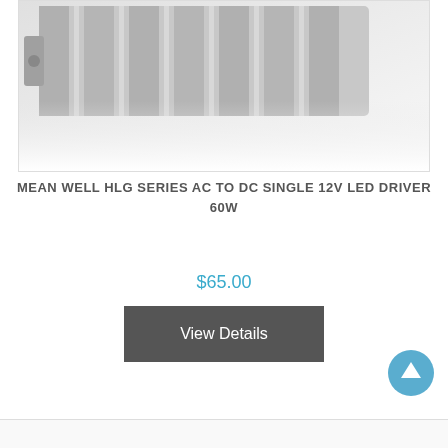[Figure (photo): Product photo of Mean Well HLG Series LED driver power supply unit, silver/grey metallic rectangular device, partially visible, cropped at top]
MEAN WELL HLG SERIES AC TO DC SINGLE 12V LED DRIVER 60W
$65.00
View Details
[Figure (other): Back to top circular button with upward arrow, teal/blue color]